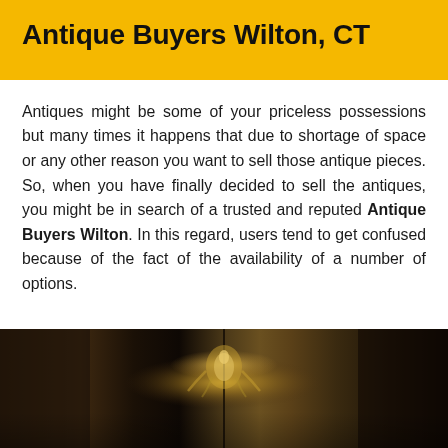Antique Buyers Wilton, CT
Antiques might be some of your priceless possessions but many times it happens that due to shortage of space or any other reason you want to sell those antique pieces. So, when you have finally decided to sell the antiques, you might be in search of a trusted and reputed Antique Buyers Wilton. In this regard, users tend to get confused because of the fact of the availability of a number of options.
[Figure (photo): Dark photograph showing antique decorative objects including what appears to be an ornate chandelier or lamp with golden/amber tones against a dark background]